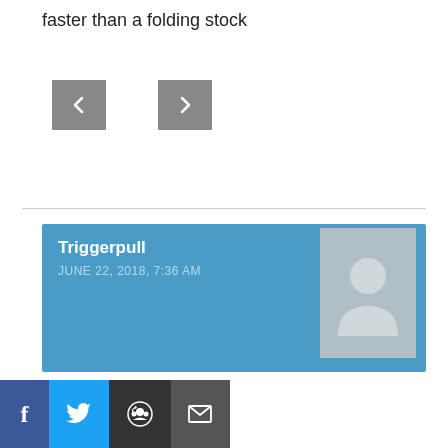faster than a folding stock
[Figure (other): Two small square navigation buttons (back and forward) with arrow icons on a grey background]
Triggerpull
JUNE 22, 2018, 7:36 AM
Who cares…I don't. Maybe good for globe-trotting mercs. A lot of a gun's inherent accuracy and reliability depends on precision alignment of the extension to BCG–at first glance my intuition says cool feature but, maybe problematic down the road. I'm certainly not getting in line.
[Figure (other): Social sharing bar with Facebook, Twitter, Reddit, and email buttons]